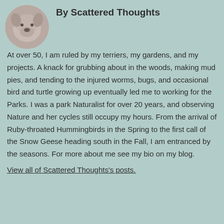[Figure (photo): Circular avatar photo of a dog (terrier), grayscale/muted tones]
By Scattered Thoughts
At over 50, I am ruled by my terriers, my gardens, and my projects. A knack for grubbing about in the woods, making mud pies, and tending to the injured worms, bugs, and occasional bird and turtle growing up eventually led me to working for the Parks. I was a park Naturalist for over 20 years, and observing Nature and her cycles still occupy my hours. From the arrival of Ruby-throated Hummingbirds in the Spring to the first call of the Snow Geese heading south in the Fall, I am entranced by the seasons. For more about me see my bio on my blog.
View all of Scattered Thoughts's posts.